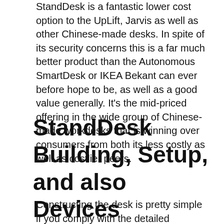StandDesk is a fantastic lower cost option to the UpLift, Jarvis as well as other Chinese-made desks. In spite of its security concerns this is a far much better product than the Autonomous SmartDesk or IKEA Bekant can ever before hope to be, as well as a good value generally. It’s the mid-priced offering in the wide group of Chinese-made workdesks that is winning over consumers from both its less costly as well as costlier peers.
StandDesk Building, Setup, and also Devices
Constructing the desk is pretty simple if you comply with the detailed directions. Every